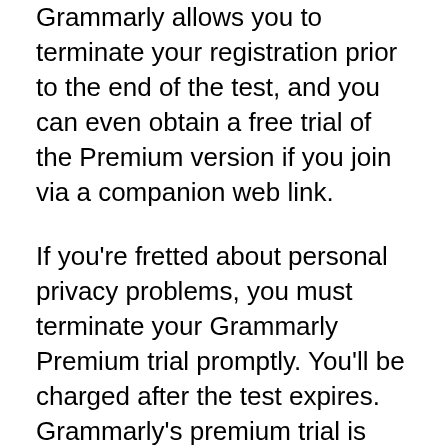Grammarly allows you to terminate your registration prior to the end of the test, and you can even obtain a free trial of the Premium version if you join via a companion web link.
If you're fretted about personal privacy problems, you must terminate your Grammarly Premium trial promptly. You'll be charged after the test expires. Grammarly's premium trial is valid for 7 days, yet you can obtain an extension for seven days if you send a close friend's web link. If you enjoy with the software program, you can additionally try Grammarly's recommendation program to break out perks and also extended premium usage. If you're satisfied with its solutions, you can acquire a